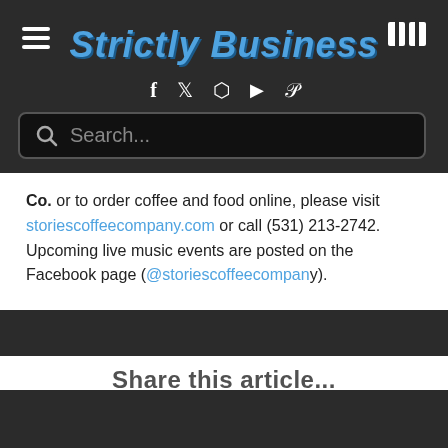Strictly Business
[Figure (logo): Strictly Business logo in bold italic blue text with social media icons (Facebook, Twitter, Instagram, YouTube, Pinterest) below]
[Figure (other): Search bar with magnifying glass icon and placeholder text 'Search...']
Co. or to order coffee and food online, please visit storiescoffeecompany.com or call (531) 213-2742. Upcoming live music events are posted on the Facebook page (@storiescoffeecompany).
Share this article...